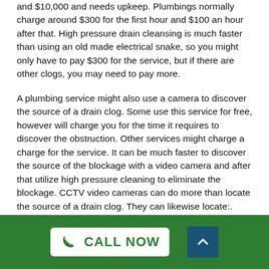and $10,000 and needs upkeep. Plumbings normally charge around $300 for the first hour and $100 an hour after that. High pressure drain cleansing is much faster than using an old made electrical snake, so you might only have to pay $300 for the service, but if there are other clogs, you may need to pay more.
A plumbing service might also use a camera to discover the source of a drain clog. Some use this service for free, however will charge you for the time it requires to discover the obstruction. Other services might charge a charge for the service. It can be much faster to discover the source of the blockage with a video camera and after that utilize high pressure cleaning to eliminate the blockage. CCTV video cameras can do more than locate the source of a drain clog. They can likewise locate:.
CALL NOW